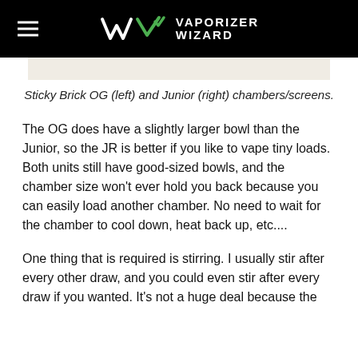VAPORIZER WIZARD
[Figure (photo): Bottom portion of a photo showing Sticky Brick OG (left) and Junior (right) chambers/screens, beige/cream colored surface visible.]
Sticky Brick OG (left) and Junior (right) chambers/screens.
The OG does have a slightly larger bowl than the Junior, so the JR is better if you like to vape tiny loads. Both units still have good-sized bowls, and the chamber size won't ever hold you back because you can easily load another chamber. No need to wait for the chamber to cool down, heat back up, etc....
One thing that is required is stirring. I usually stir after every other draw, and you could even stir after every draw if you wanted. It's not a huge deal because the